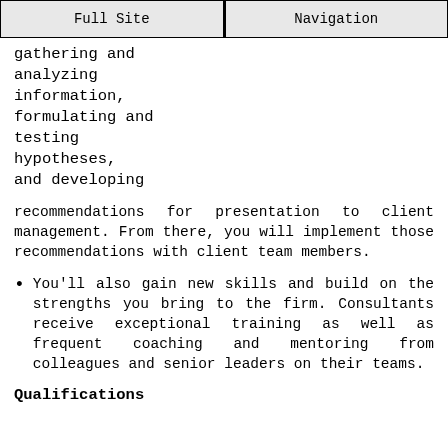Full Site | Navigation
gathering and analyzing information, formulating and testing hypotheses, and developing
recommendations for presentation to client management. From there, you will implement those recommendations with client team members.
You'll also gain new skills and build on the strengths you bring to the firm. Consultants receive exceptional training as well as frequent coaching and mentoring from colleagues and senior leaders on their teams.
Qualifications